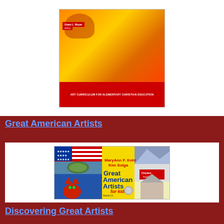[Figure (illustration): Book cover for Art Curriculum for Elementary Christian Education, red background with butterfly and sunflower photo]
Great American Artists
[Figure (illustration): Book cover: Great American Artists for Kids by MaryAnn F. Kohl and Kim Solga. Yellow cover with American flag, sea turtle, red cat, soup can, mountains, church, and children artwork. Subtitle: Hands-On Art Experiences in the Styles of Great American Masters]
Discovering Great Artists